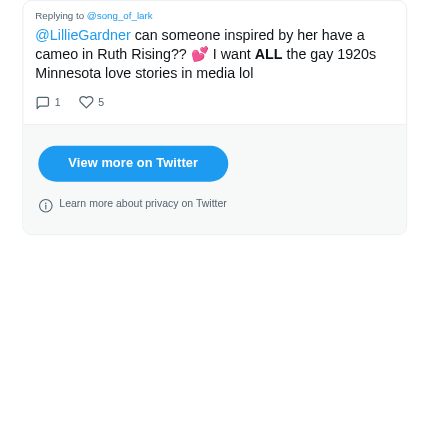Replying to @song_of_lark
@LillieGardner can someone inspired by her have a cameo in Ruth Rising?? 💕 I want ALL the gay 1920s Minnesota love stories in media lol
💬 1  🤍 5
[Figure (screenshot): View more on Twitter button (blue rounded rectangle)]
ⓘ Learn more about privacy on Twitter
Or Follow SOTL on Instagram
No Instagram images were found.